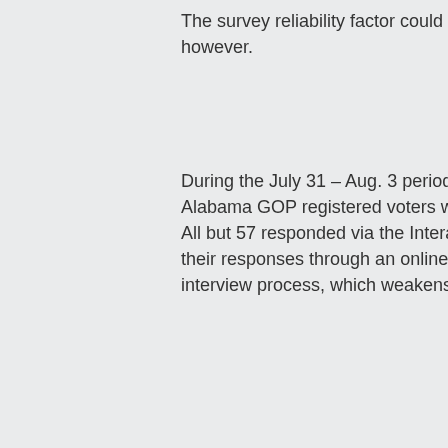The survey reliability factor could be suspect, however.
During the July 31 – Aug. 3 period, RHH Elections conducted a poll of 426 self-identified Alabama GOP registered voters who say they will vote in the special Republican primary. All but 57 responded via the Interactive Voice Response system, and the former provided their responses through an online questionnaire. No live surveyors were part of the interview process, which weakens the reliability substantially.
That being said, the RHH numbers are within the realm of the other published poll results. The new data forecasts former state Supreme Court Chief Justice Roy Moore as capturing the edge with 31 percent over the previous race leader, appointed Sen. Luther Strange, who is just two